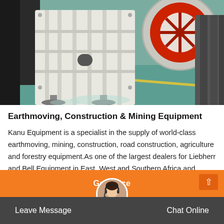[Figure (photo): Industrial jaw crusher machine — large white/cream colored heavy equipment with red flywheel, bolted frame, and leveling feet pads, sitting on a green painted factory floor.]
Earthmoving, Construction & Mining Equipment
Kanu Equipment is a specialist in the supply of world-class earthmoving, mining, construction, road construction, agriculture and forestry equipment.As one of the largest dealers for Liebherr and Bell Equipment in East, West and Southern Africa and with…